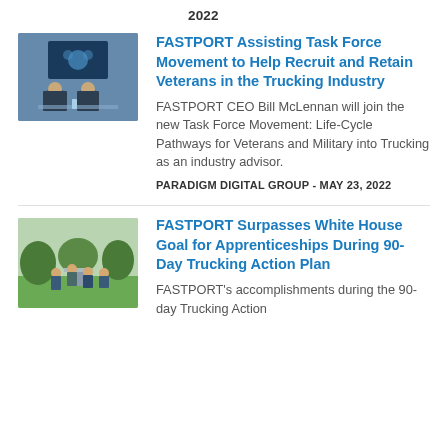2022
[Figure (photo): Two men in suits seated at a table in front of a blue background with a logo display.]
FASTPORT Assisting Task Force Movement to Help Recruit and Retain Veterans in the Trucking Industry
FASTPORT CEO Bill McLennan will join the new Task Force Movement: Life-Cycle Pathways for Veterans and Military into Trucking as an industry advisor.
PARADIGM DIGITAL GROUP - MAY 23, 2022
[Figure (photo): Group of people standing outside near a podium with trees and lawn in the background.]
FASTPORT Surpasses White House Goal for Apprenticeships During 90-Day Trucking Action Plan
FASTPORT's accomplishments during the 90-day Trucking Action...